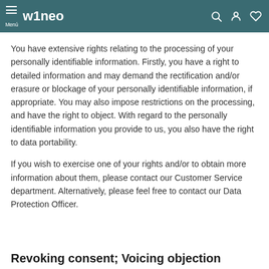Menú  wineo
You have extensive rights relating to the processing of your personally identifiable information. Firstly, you have a right to detailed information and may demand the rectification and/or erasure or blockage of your personally identifiable information, if appropriate. You may also impose restrictions on the processing, and have the right to object. With regard to the personally identifiable information you provide to us, you also have the right to data portability.
If you wish to exercise one of your rights and/or to obtain more information about them, please contact our Customer Service department. Alternatively, please feel free to contact our Data Protection Officer.
Revoking consent; Voicing objection